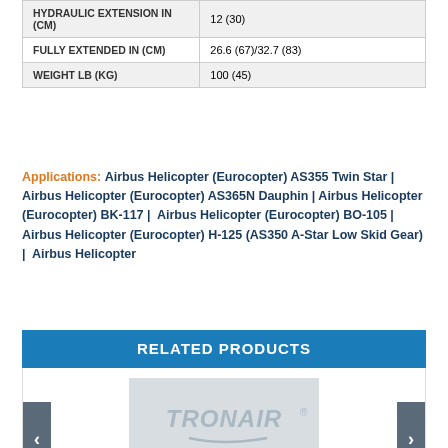| Property | Value |
| --- | --- |
| HYDRAULIC EXTENSION IN (CM) | 12 (30) |
| FULLY EXTENDED IN (CM) | 26.6 (67)/32.7 (83) |
| WEIGHT LB (KG) | 100 (45) |
Applications: Airbus Helicopter (Eurocopter) AS355 Twin Star | Airbus Helicopter (Eurocopter) AS365N Dauphin | Airbus Helicopter (Eurocopter) BK-117 | Airbus Helicopter (Eurocopter) BO-105 | Airbus Helicopter (Eurocopter) H-125 (AS350 A-Star Low Skid Gear) | Airbus Helicopter
RELATED PRODUCTS
[Figure (logo): TRONAIR logo displayed in light gray on a gray background placeholder image]
02-0222C0111
Aft Jack (2 ton/18. metric ton)